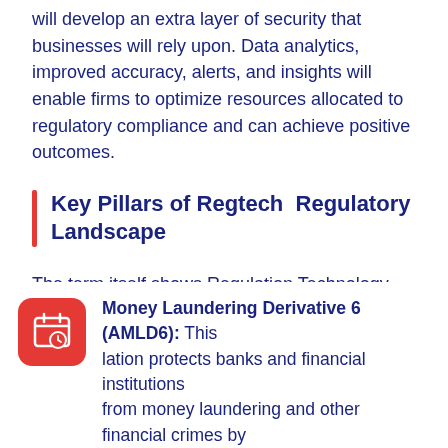will develop an extra layer of security that businesses will rely upon. Data analytics, improved accuracy, alerts, and insights will enable firms to optimize resources allocated to regulatory compliance and can achieve positive outcomes.
Key Pillars of Regtech  Regulatory Landscape
The term itself shows Regulation Technology, companies can't interpret without discussing the laws that ensure a standard framework to overcome cybercrimes and make the financial sector's digitization possible. Here are some of the major regulations:
Money Laundering Derivative 6 (AMLD6): This [regulation] protects banks and financial institutions from money laundering and other financial crimes by